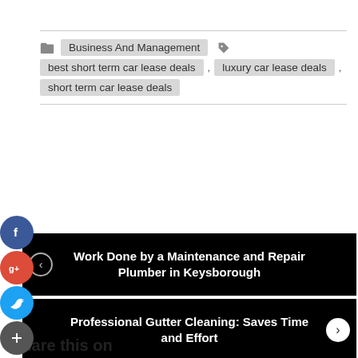Business And Management  |  best short term car lease deals , luxury car lease deals , short term car lease deals
[Figure (infographic): Social share buttons: Facebook (blue circle), Google+ (red circle), Twitter (blue circle), Add (+) grey circle on left side]
Work Done by a Maintenance and Repair Plumber in Keysborough
Professional Gutter Cleaning: Saves Time and Effort
Share this on